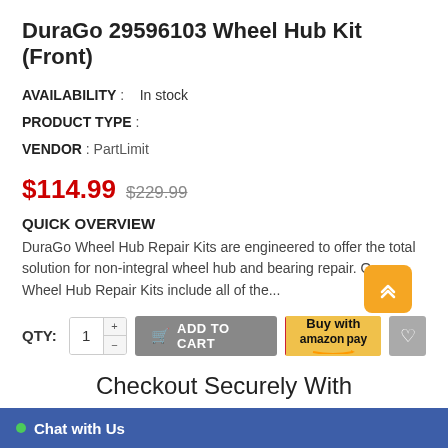DuraGo 29596103 Wheel Hub Kit (Front)
AVAILABILITY :   In stock
PRODUCT TYPE :
VENDOR : PartLimit
$114.99  $229.99
QUICK OVERVIEW
DuraGo Wheel Hub Repair Kits are engineered to offer the total solution for non-integral wheel hub and bearing repair. Our Wheel Hub Repair Kits include all of the...
QTY: 1  ADD TO CART  Buy with amazon pay
Checkout Securely With
[Figure (logo): VISA logo, Mastercard logo, amazon pay logo, Apple Pay logo]
Chat with Us